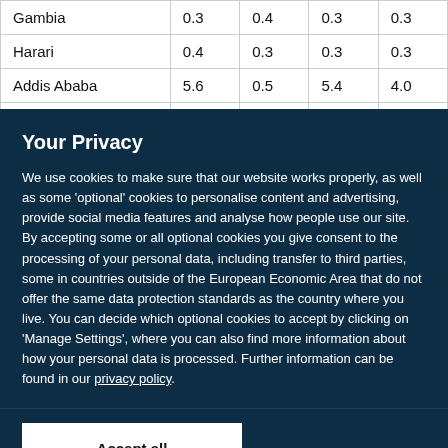| Gambia | 0.3 | 0.4 | 0.3 | 0.3 |
| Harari | 0.4 | 0.3 | 0.3 | 0.3 |
| Addis Ababa | 5.6 | 0.5 | 5.4 | 4.0 |
Your Privacy
We use cookies to make sure that our website works properly, as well as some 'optional' cookies to personalise content and advertising, provide social media features and analyse how people use our site. By accepting some or all optional cookies you give consent to the processing of your personal data, including transfer to third parties, some in countries outside of the European Economic Area that do not offer the same data protection standards as the country where you live. You can decide which optional cookies to accept by clicking on 'Manage Settings', where you can also find more information about how your personal data is processed. Further information can be found in our privacy policy.
Accept all cookies
Manage preferences